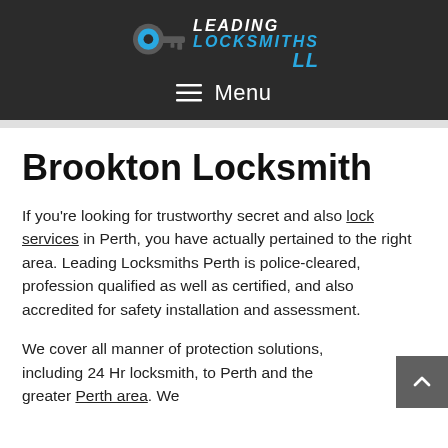[Figure (logo): Leading Locksmiths logo with a key icon and company name in white and blue italic text on dark background]
≡  Menu
Brookton Locksmith
If you're looking for trustworthy secret and also lock services in Perth, you have actually pertained to the right area. Leading Locksmiths Perth is police-cleared, profession qualified as well as certified, and also accredited for safety installation and assessment.
We cover all manner of protection solutions, including 24 Hr locksmith, to Perth and the greater Perth area. We